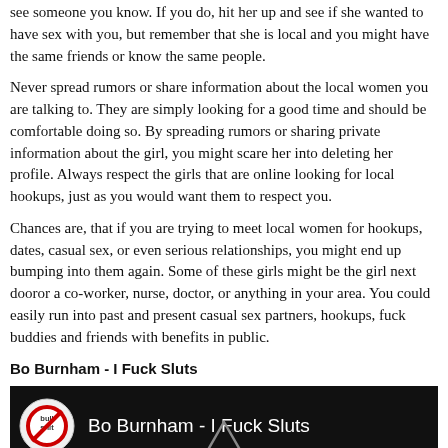see someone you know. If you do, hit her up and see if she wanted to have sex with you, but remember that she is local and you might have the same friends or know the same people.
Never spread rumors or share information about the local women you are talking to. They are simply looking for a good time and should be comfortable doing so. By spreading rumors or sharing private information about the girl, you might scare her into deleting her profile. Always respect the girls that are online looking for local hookups, just as you would want them to respect you.
Chances are, that if you are trying to meet local women for hookups, dates, casual sex, or even serious relationships, you might end up bumping into them again. Some of these girls might be the girl next dooror a co-worker, nurse, doctor, or anything in your area. You could easily run into past and present casual sex partners, hookups, fuck buddies and friends with benefits in public.
Bo Burnham - I Fuck Sluts
[Figure (screenshot): Video thumbnail showing a dark background with a 'bullshit' logo icon on the left and the text 'Bo Burnham - I Fuck Sluts' in white, with a triangular play arrow at the bottom center.]